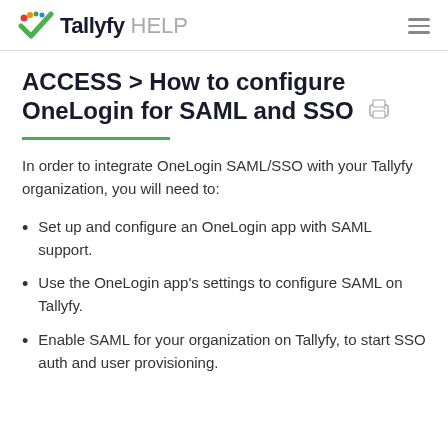Tallyfy HELP
ACCESS > How to configure OneLogin for SAML and SSO
In order to integrate OneLogin SAML/SSO with your Tallyfy organization, you will need to:
Set up and configure an OneLogin app with SAML support.
Use the OneLogin app's settings to configure SAML on Tallyfy.
Enable SAML for your organization on Tallyfy, to start SSO auth and user provisioning.